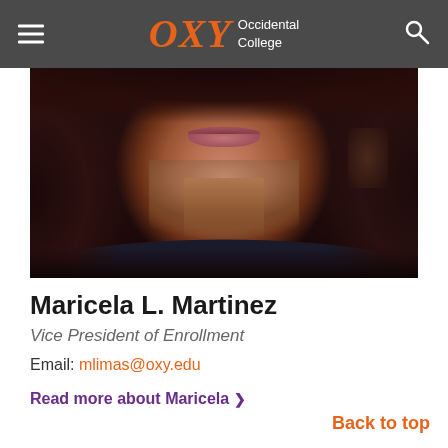OXY Occidental College
[Figure (photo): Close-up headshot photo of Maricela L. Martinez, a woman with curly dark hair, showing her face from approximately nose to shoulders, wearing a dark top. Photo is cropped so only lower face and hair are visible.]
Maricela L. Martinez
Vice President of Enrollment
Email: mlimas@oxy.edu
Read more about Maricela ❯
Back to top